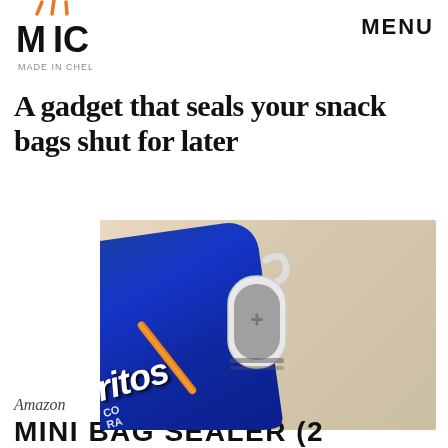[Figure (logo): MIC logo in orange/black stylized letters]
MENU
A gadget that seals your snack bags shut for later
[Figure (photo): Photo of a mini bag sealer device (gray/white with hook) clipped on top of a Doritos chip bag on a wood surface]
Amazon
MINI BAG SEALER (2